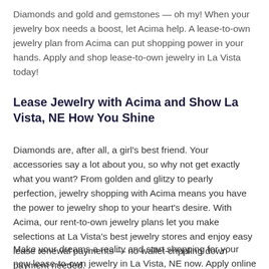Diamonds and gold and gemstones — oh my! When your jewelry box needs a boost, let Acima help. A lease-to-own jewelry plan from Acima can put shopping power in your hands. Apply and shop lease-to-own jewelry in La Vista today!
Lease Jewelry with Acima and Show La Vista, NE How You Shine
Diamonds are, after all, a girl's best friend. Your accessories say a lot about you, so why not get exactly what you want? From golden and glitzy to pearly perfection, jewelry shopping with Acima means you have the power to jewelry shop to your heart's desire. With Acima, our rent-to-own jewelry plans let you make selections at La Vista's best jewelry stores and enjoy easy lease renewal payments — no wallet-crippling down payment needed.
Make your dreams a reality and start shopping for your new lease-to-own jewelry in La Vista, NE now. Apply online and select a retailer now, or ask for Acima in-store.